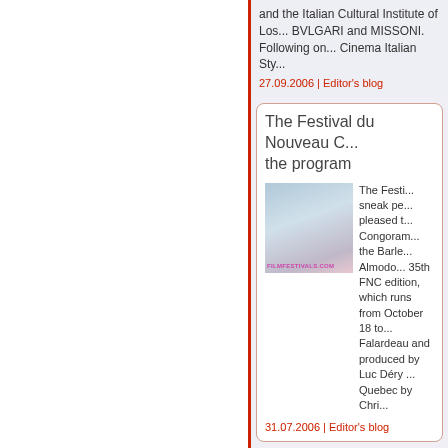and the Italian Cultural Institute of Los... BVLGARI and MISSONI. Following on... Cinema Italian Sty...
27.09.2006 | Editor's blog
The Festival du Nouveau C... the program
[Figure (photo): Portrait photo of a person outdoors with mountains/water in background. FilmFestivals.com watermark.]
The Festi... sneak pe... pleased t... Congoram... the Barle... Almodo... 35th FNC... edition, which runs from October 18 to... Falardeau and produced by Luc Déry ... Quebec by Chri...
31.07.2006 | Editor's blog
Cannes has appointed Wo... president
[Figure (photo): Portrait photo of a person (Wong Ka...) outdoors.]
Wong Ka... jury of the... take plac...